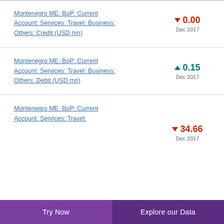Montenegro ME: BoP: Current Account: Services: Travel: Business: Others: Credit (USD mn)
Montenegro ME: BoP: Current Account: Services: Travel: Business: Others: Debit (USD mn)
Montenegro ME: BoP: Current Account: Services: Travel: ...
Try Now | Explore our Data